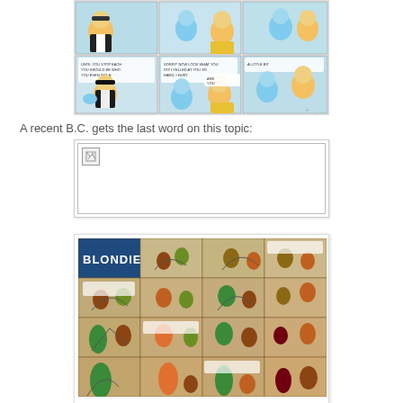[Figure (illustration): Top portion of a Blondie comic strip showing two rows of panels with cartoon characters in color]
A recent B.C. gets the last word on this topic:
[Figure (illustration): A B.C. comic strip image that failed to load (broken image placeholder shown)]
[Figure (illustration): A vintage Blondie Sunday comic strip page with multiple panels arranged in a grid, showing characters in action scenes with aged yellowish paper appearance]